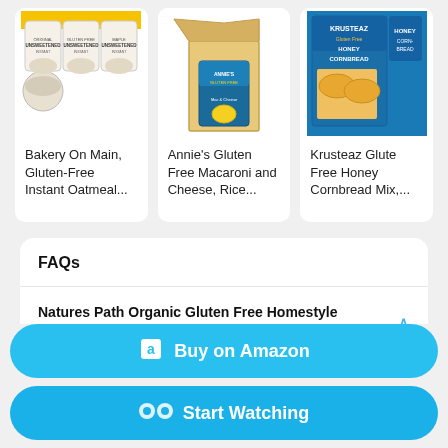[Figure (photo): Bakery On Main Gluten-Free Instant Oatmeal product image - three round oatmeal packages]
Bakery On Main, Gluten-Free Instant Oatmeal...
[Figure (photo): Annie's Gluten Free Macaroni and Cheese Rice product image - box package in open cardboard shipping box]
Annie's Gluten Free Macaroni and Cheese, Rice...
[Figure (photo): Krusteaz Gluten Free Honey Cornbread Mix product image - package with cornbread muffins]
Krusteaz Gluten Free Honey Cornbread Mix,...
FAQs
Natures Path Organic Gluten Free Homestyle Instant, is it available on Amazon?
Buy on Amazon
Start Watching